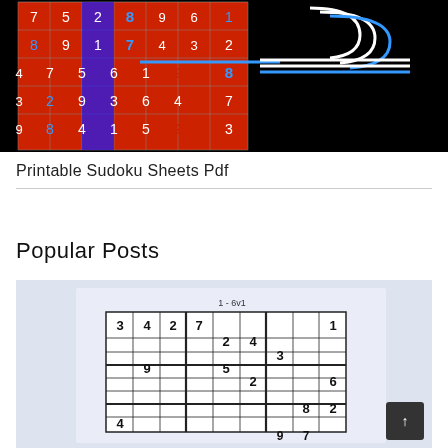[Figure (screenshot): Screenshot of a digital Sudoku puzzle with colored cells on a black background, featuring red highlighted cells, blue numbers, and white grid lines with arrow graphics overlaid.]
Printable Sudoku Sheets Pdf
Popular Posts
[Figure (photo): Photo of a printed Sudoku sheet labeled '1 - 6v1' with a lavender background and bold black numbers partially filled in the grid.]